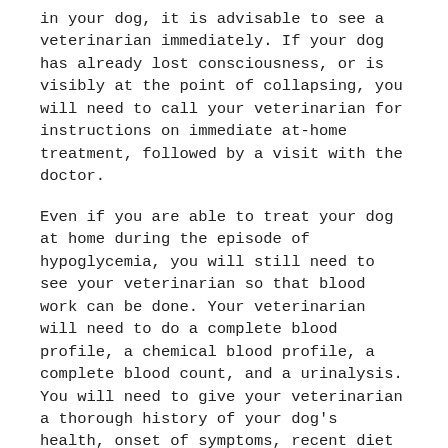in your dog, it is advisable to see a veterinarian immediately. If your dog has already lost consciousness, or is visibly at the point of collapsing, you will need to call your veterinarian for instructions on immediate at-home treatment, followed by a visit with the doctor.
Even if you are able to treat your dog at home during the episode of hypoglycemia, you will still need to see your veterinarian so that blood work can be done. Your veterinarian will need to do a complete blood profile, a chemical blood profile, a complete blood count, and a urinalysis. You will need to give your veterinarian a thorough history of your dog's health, onset of symptoms, recent diet and any medications you have been giving to your dog.
Treatment
There are two types of treatments for hypoglycemia, one of which is given when the episode is occurring,